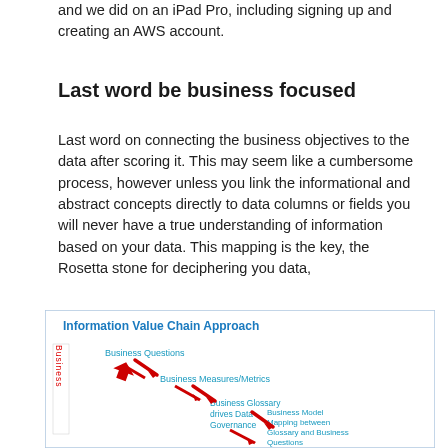and we did on an iPad Pro, including signing up and creating an AWS account.
Last word be business focused
Last word on connecting the business objectives to the data after scoring it. This may seem like a cumbersome process, however unless you link the informational and abstract concepts directly to data columns or fields you will never have a true understanding of information based on your data. This mapping is the key, the Rosetta stone for deciphering you data,
[Figure (infographic): Information Value Chain Approach diagram showing a cascading chain: Business Questions → Business Measures/Metrics → Business Glossary drives Data Governance → Business Model Mapping between Glossary and Business Questions, with red arrows pointing downward-right at each step. A vertical text label 'Business' appears on the left side.]